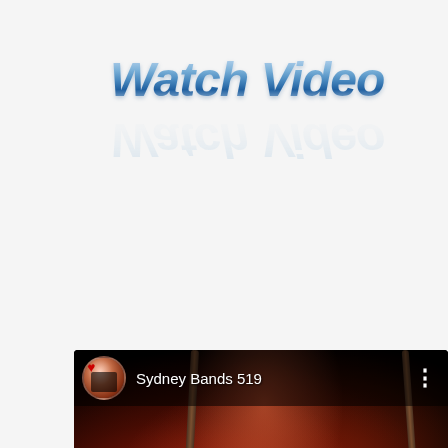Watch Video
[Figure (screenshot): A video thumbnail/embed showing a female singer performing on stage in red and black lighting, holding a microphone stand. The video is labeled 'Sydney Bands 519' with a channel avatar in the top-left corner and three-dot menu in the top-right. A play button is centered over the image. The watermark text 'BlackTieGroup.com.au' appears at the bottom.]